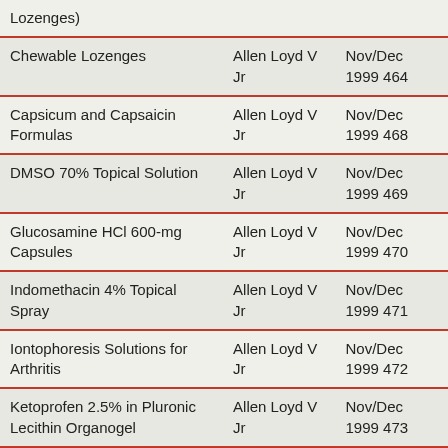| Lozenges) |  |  |
| Chewable Lozenges | Allen Loyd V Jr | Nov/Dec 1999 464 |
| Capsicum and Capsaicin Formulas | Allen Loyd V Jr | Nov/Dec 1999 468 |
| DMSO 70% Topical Solution | Allen Loyd V Jr | Nov/Dec 1999 469 |
| Glucosamine HCl 600-mg Capsules | Allen Loyd V Jr | Nov/Dec 1999 470 |
| Indomethacin 4% Topical Spray | Allen Loyd V Jr | Nov/Dec 1999 471 |
| Iontophoresis Solutions for Arthritis | Allen Loyd V Jr | Nov/Dec 1999 472 |
| Ketoprofen 2.5% in Pluronic Lecithin Organogel | Allen Loyd V Jr | Nov/Dec 1999 473 |
| Methotrexate 2.5-mg/5-mL Oral Liquid | Allen Loyd V Jr | Nov/Dec 1999 474 |
| Methyl Salicylate and Menthol Analgesic Stick | Allen Loyd V Jr | Nov/Dec 1999 475 |